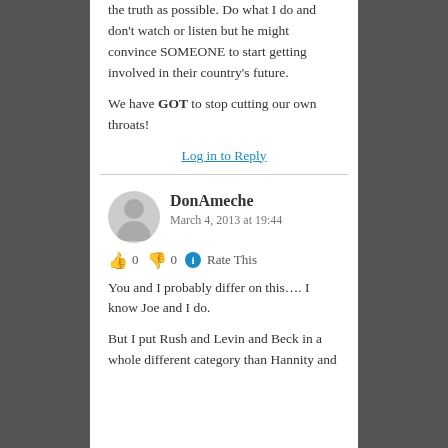the truth as possible. Do what I do and don't watch or listen but he might convince SOMEONE to start getting involved in their country's future.

We have GOT to stop cutting our own throats!
Log in to Reply
DonAmeche
March 4, 2013 at 19:44
👍 0 👎 0 ℹ Rate This
You and I probably differ on this…. I know Joe and I do.

But I put Rush and Levin and Beck in a whole different category than Hannity and